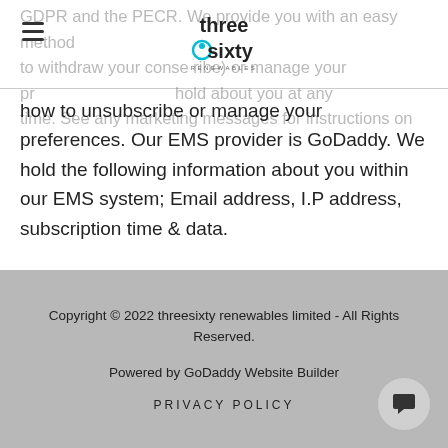three sixty renewables
GDPR and the PECR. We provide you with an easy method to withdraw your consent (unsubscribe) or manage your preferences / the information we hold about you at any time. See any marketing messages for instructions on how to unsubscribe or manage your preferences.  Our EMS provider is GoDaddy. We hold the following information about you within our EMS system; Email address, I.P address, subscription time & data.
Copyright © 2022 threesixty renewables limited - All Rights Reserved.

Powered by GoDaddy Website Builder

PRIVACY POLICY